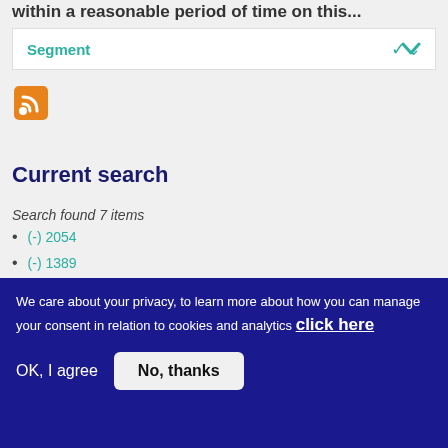within a reasonable period of time on this...
Segment
[Figure (other): RSS feed icon - orange square with white RSS symbol]
Current search
Search found 7 items
(-) 2054
(-) 1389
(-) 2134
We care about your privacy, to learn more about how you can manage your consent in relation to cookies and analytics click here
OK, I agree
No, thanks